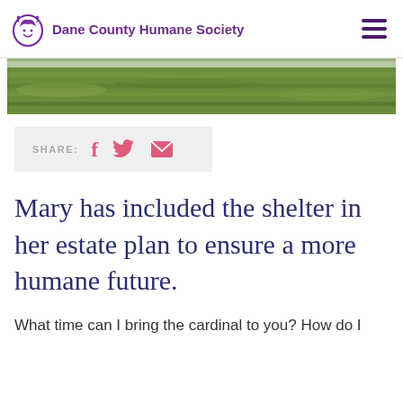Dane County Humane Society
[Figure (photo): Partial view of grassy outdoor area, cropped at top]
[Figure (infographic): SHARE: social media icons for Facebook, Twitter, and Email]
Mary has included the shelter in her estate plan to ensure a more humane future.
What time can I bring the cardinal to you? How do I